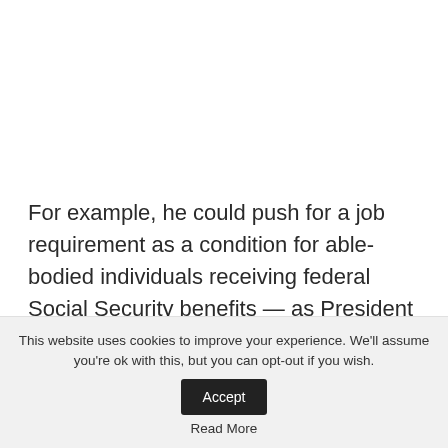For example, he could push for a job requirement as a condition for able-bodied individuals receiving federal Social Security benefits — as President Clinton and Chairman Newt Gingrich did in the late 1990s.
This website uses cookies to improve your experience. We'll assume you're ok with this, but you can opt-out if you wish. Accept Read More